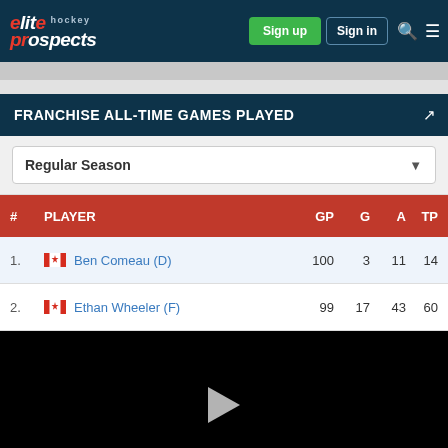elite hockey prospects — Sign up | Sign in
FRANCHISE ALL-TIME GAMES PLAYED
Regular Season
| # | PLAYER | GP | G | A | TP |
| --- | --- | --- | --- | --- | --- |
| 1. | Ben Comeau (D) | 100 | 3 | 11 | 14 |
| 2. | Ethan Wheeler (F) | 99 | 17 | 43 | 60 |